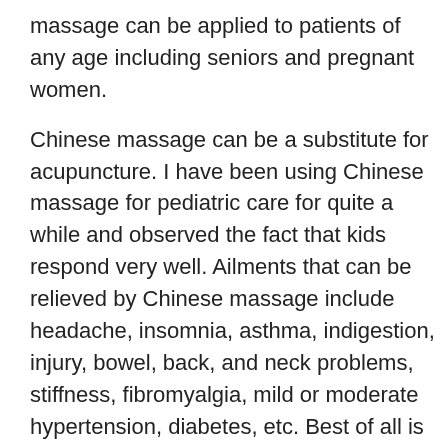massage can be applied to patients of any age including seniors and pregnant women.
Chinese massage can be a substitute for acupuncture. I have been using Chinese massage for pediatric care for quite a while and observed the fact that kids respond very well. Ailments that can be relieved by Chinese massage include headache, insomnia, asthma, indigestion, injury, bowel, back, and neck problems, stiffness, fibromyalgia, mild or moderate hypertension, diabetes, etc. Best of all is the good feeling that comes with this caring and loving therapy.
In the United States, it is not easy to find a well-trained Chinese massage doctor because there is no professional training school for this kind of therapy. Most massage schools teach regular massage, but only provide a little information on the oriental massage techniques.
Regularly Recognized Treatment...